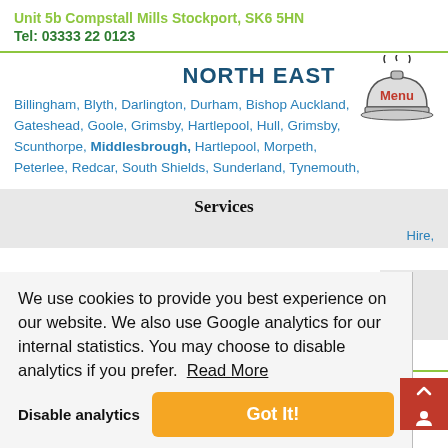Unit 5b Compstall Mills Stockport, SK6 5HN
Tel: 03333 22 0123
NORTH EAST
Billingham, Blyth, Darlington, Durham, Bishop Auckland, Gateshead, Goole, Grimsby, Hartlepool, Hull, Grimsby, Scunthorpe, Middlesbrough, Hartlepool, Morpeth, Peterlee, Redcar, South Shields, Sunderland, Tynemouth,
[Figure (illustration): Restaurant cloche/serving dome icon with steam rising, labeled Menu in red]
Services
Hire,
We use cookies to provide you best experience on our website. We also use Google analytics for our internal statistics. You may choose to disable analytics if you prefer. Read More
Disable analytics
Got It!
Furness, Blackpool, Burnley, Carlisle, Carnforth, Kendal, Gro...
Cumbria, Morecambe, Penrith, Rossendale, Southport, Warrington,